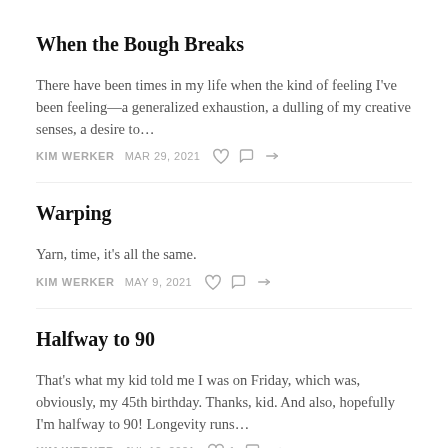When the Bough Breaks
There have been times in my life when the kind of feeling I've been feeling—a generalized exhaustion, a dulling of my creative senses, a desire to…
KIM WERKER   MAR 29, 2021
Warping
Yarn, time, it's all the same.
KIM WERKER   MAY 9, 2021
Halfway to 90
That's what my kid told me I was on Friday, which was, obviously, my 45th birthday. Thanks, kid. And also, hopefully I'm halfway to 90! Longevity runs…
KIM WERKER   JUL 12, 2021   1